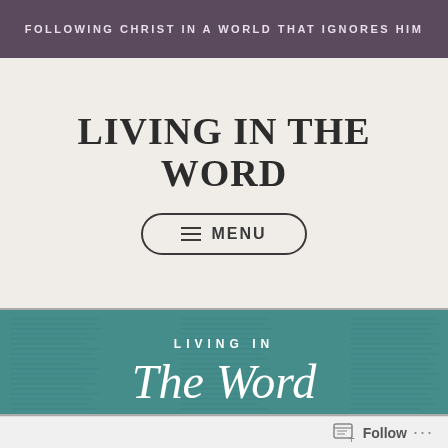FOLLOWING CHRIST IN A WORLD THAT IGNORES HIM
LIVING IN THE WORD
MENU
[Figure (illustration): Banner image showing a Bible with teal overlay. Text reads LIVING IN The Word in white letters.]
Follow ...